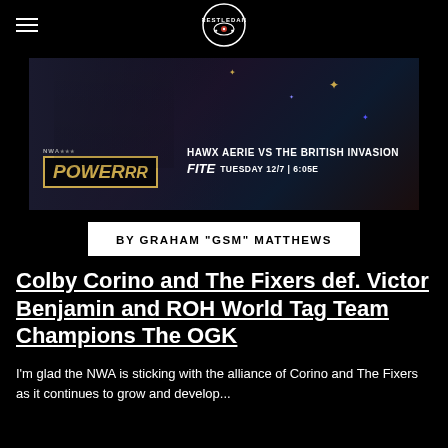WrestleDaily
[Figure (illustration): NWA PowerRR promotional banner showing wrestlers in suits. Text reads: HAWX AERIE VS THE BRITISH INVASION. FITE TUESDAY 12/7 | 6:05E]
BY GRAHAM "GSM" MATTHEWS
Colby Corino and The Fixers def. Victor Benjamin and ROH World Tag Team Champions The OGK
I'm glad the NWA is sticking with the alliance of Corino and The Fixers as it continues to grow and develop...